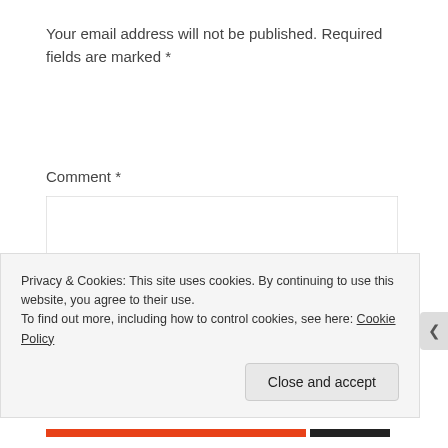Your email address will not be published. Required fields are marked *
Comment *
[Figure (screenshot): Empty comment text area input box with a thin gray border]
Privacy & Cookies: This site uses cookies. By continuing to use this website, you agree to their use.
To find out more, including how to control cookies, see here: Cookie Policy
Close and accept